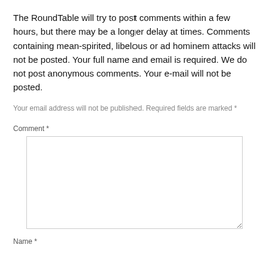The RoundTable will try to post comments within a few hours, but there may be a longer delay at times. Comments containing mean-spirited, libelous or ad hominem attacks will not be posted. Your full name and email is required. We do not post anonymous comments. Your e-mail will not be posted.
Your email address will not be published. Required fields are marked *
Comment *
Name *